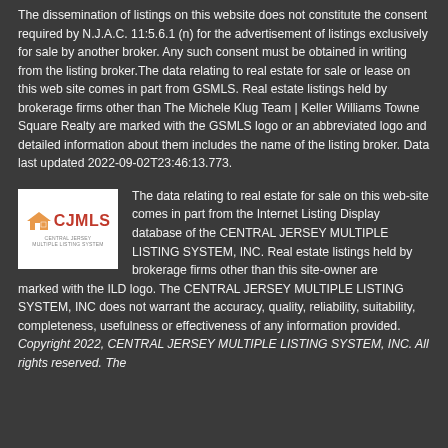The dissemination of listings on this website does not constitute the consent required by N.J.A.C. 11:5.6.1 (n) for the advertisement of listings exclusively for sale by another broker. Any such consent must be obtained in writing from the listing broker.The data relating to real estate for sale or lease on this web site comes in part from GSMLS. Real estate listings held by brokerage firms other than The Michele Klug Team | Keller Williams Towne Square Realty are marked with the GSMLS logo or an abbreviated logo and detailed information about them includes the name of the listing broker. Data last updated 2022-09-02T23:46:13.773.
[Figure (logo): CJMLS logo with orange house icon and red CJMLS text on white background]
The data relating to real estate for sale on this web-site comes in part from the Internet Listing Display database of the CENTRAL JERSEY MULTIPLE LISTING SYSTEM, INC. Real estate listings held by brokerage firms other than this site-owner are marked with the ILD logo. The CENTRAL JERSEY MULTIPLE LISTING SYSTEM, INC does not warrant the accuracy, quality, reliability, suitability, completeness, usefulness or effectiveness of any information provided. Copyright 2022, CENTRAL JERSEY MULTIPLE LISTING SYSTEM, INC. All rights reserved. The